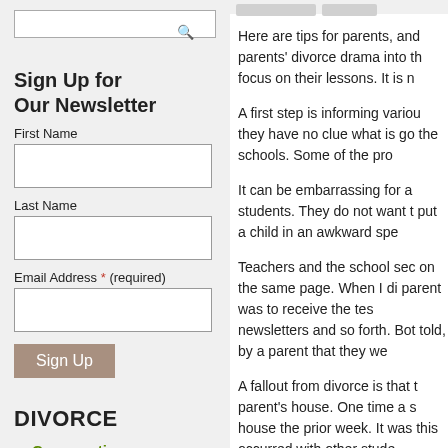[Figure (other): Search input box with magnifying glass icon]
Sign Up for Our Newsletter
First Name
Last Name
Email Address * (required)
Sign Up
DIVORCE
Co-parenting
Ex-spouse
Here are tips for parents, and parents' divorce drama into th focus on their lessons. It is n
A first step is informing variou they have no clue what is go the schools. Some of the pro
It can be embarrassing for a students. They do not want t put a child in an awkward spe
Teachers and the school sec on the same page. When I di parent was to receive the tes newsletters and so forth. Bot told, by a parent that they we
A fallout from divorce is that t parent's house. One time a s house the prior week.  It was this occurred with other stude